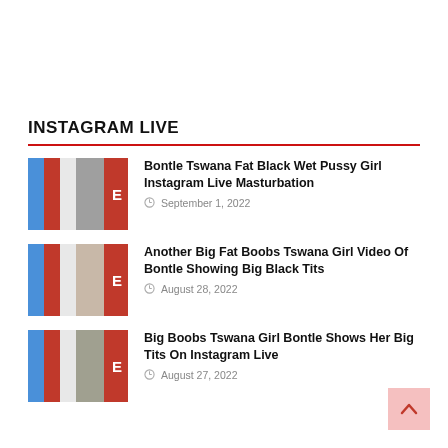INSTAGRAM LIVE
Bontle Tswana Fat Black Wet Pussy Girl Instagram Live Masturbation
September 1, 2022
Another Big Fat Boobs Tswana Girl Video Of Bontle Showing Big Black Tits
August 28, 2022
Big Boobs Tswana Girl Bontle Shows Her Big Tits On Instagram Live
August 27, 2022